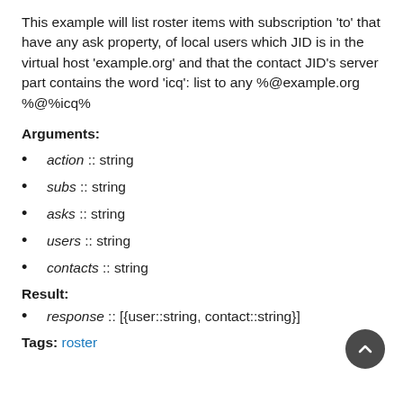This example will list roster items with subscription 'to' that have any ask property, of local users which JID is in the virtual host 'example.org' and that the contact JID's server part contains the word 'icq': list to any %@example.org %@%icq%
Arguments:
action :: string
subs :: string
asks :: string
users :: string
contacts :: string
Result:
response :: [{user::string, contact::string}]
Tags: roster